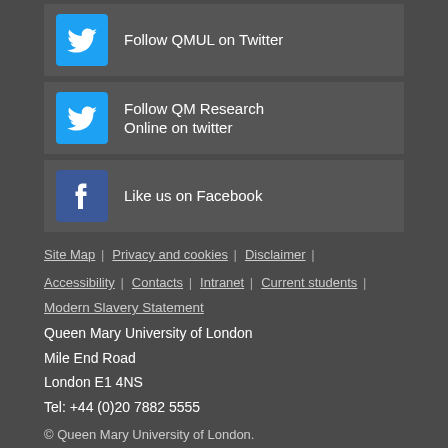Follow QMUL on Twitter
Follow QM Research Online on twitter
Like us on Facebook
Site Map | Privacy and cookies | Disclaimer | Accessibility | Contacts | Intranet | Current students |
Modern Slavery Statement
Queen Mary University of London
Mile End Road
London E1 4NS
Tel: +44 (0)20 7882 5555
© Queen Mary University of London.